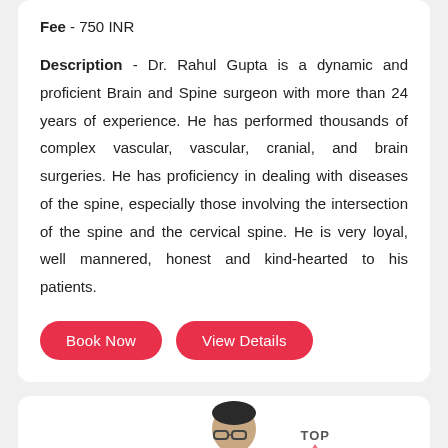Fee - 750 INR
Description - Dr. Rahul Gupta is a dynamic and proficient Brain and Spine surgeon with more than 24 years of experience. He has performed thousands of complex vascular, vascular, cranial, and brain surgeries. He has proficiency in dealing with diseases of the spine, especially those involving the intersection of the spine and the cervical spine. He is very loyal, well mannered, honest and kind-hearted to his patients.
[Figure (screenshot): Two buttons: 'Book Now' and 'View Details', both with red pill-shaped background and white text]
[Figure (photo): Partial view of a doctor's photo and a TOP label with upward arrow, plus a red chat button in bottom right]